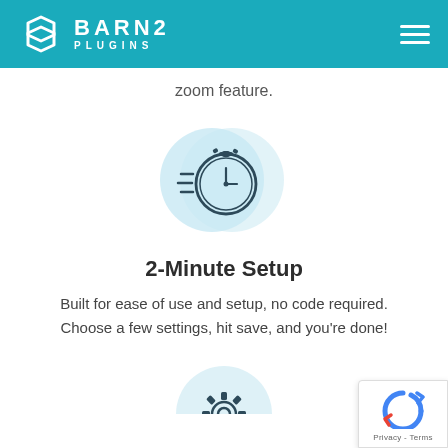BARN2 PLUGINS
zoom feature.
[Figure (illustration): Stopwatch icon with motion lines, centered on two overlapping light blue circles]
2-Minute Setup
Built for ease of use and setup, no code required. Choose a few settings, hit save, and you're done!
[Figure (illustration): Gear/settings icon, partially visible at the bottom center, on a light blue circle background]